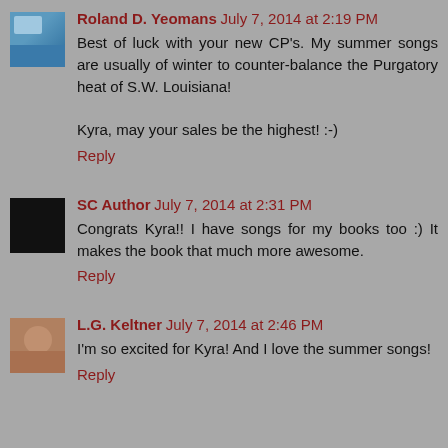[Figure (photo): Avatar thumbnail of Roland D. Yeomans - blue/mountain scene]
Roland D. Yeomans July 7, 2014 at 2:19 PM
Best of luck with your new CP's. My summer songs are usually of winter to counter-balance the Purgatory heat of S.W. Louisiana!

Kyra, may your sales be the highest! :-)
Reply
[Figure (photo): Avatar thumbnail of SC Author - black square]
SC Author July 7, 2014 at 2:31 PM
Congrats Kyra!! I have songs for my books too :) It makes the book that much more awesome.
Reply
[Figure (photo): Avatar thumbnail of L.G. Keltner - woman with glasses]
L.G. Keltner July 7, 2014 at 2:46 PM
I'm so excited for Kyra! And I love the summer songs!
Reply